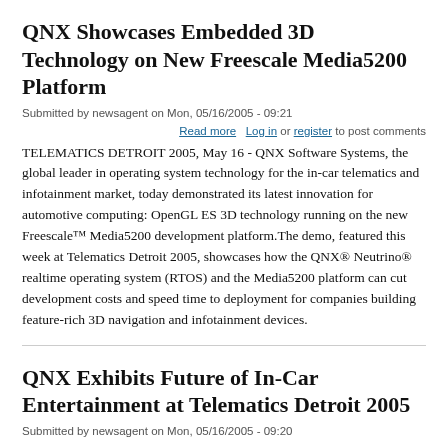QNX Showcases Embedded 3D Technology on New Freescale Media5200 Platform
Submitted by newsagent on Mon, 05/16/2005 - 09:21
Read more  Log in or register to post comments
TELEMATICS DETROIT 2005, May 16 - QNX Software Systems, the global leader in operating system technology for the in-car telematics and infotainment market, today demonstrated its latest innovation for automotive computing: OpenGL ES 3D technology running on the new Freescale™ Media5200 development platform.The demo, featured this week at Telematics Detroit 2005, showcases how the QNX® Neutrino® realtime operating system (RTOS) and the Media5200 platform can cut development costs and speed time to deployment for companies building feature-rich 3D navigation and infotainment devices.
QNX Exhibits Future of In-Car Entertainment at Telematics Detroit 2005
Submitted by newsagent on Mon, 05/16/2005 - 09:20